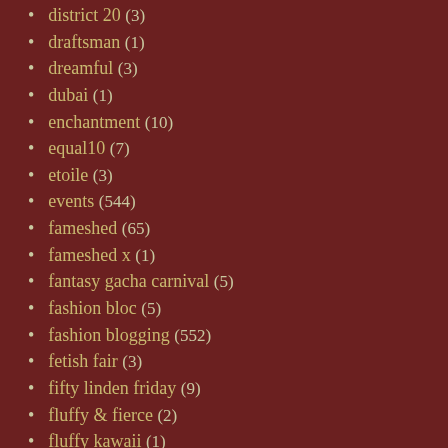district 20 (3)
draftsman (1)
dreamful (3)
dubai (1)
enchantment (10)
equal10 (7)
etoile (3)
events (544)
fameshed (65)
fameshed x (1)
fantasy gacha carnival (5)
fashion bloc (5)
fashion blogging (552)
fetish fair (3)
fifty linden friday (9)
fluffy & fierce (2)
fluffy kawaii (1)
free (63)